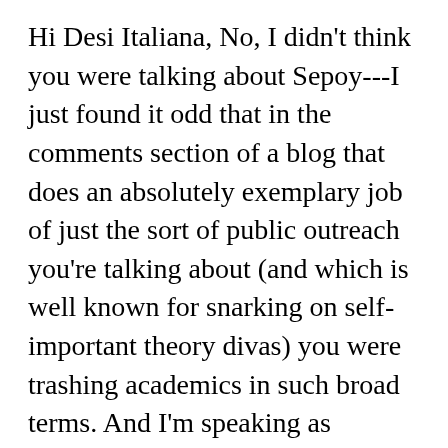Hi Desi Italiana, No, I didn't think you were talking about Sepoy---I just found it odd that in the comments section of a blog that does an absolutely exemplary job of just the sort of public outreach you're talking about (and which is well known for snarking on self-important theory divas) you were trashing academics in such broad terms. And I'm speaking as someone who left academia (for the time being) precisely because I wanted to be more directly engaged in public policy/advocacyâ€"and whose job largely consists of trying to get journalists to cover human rights and social